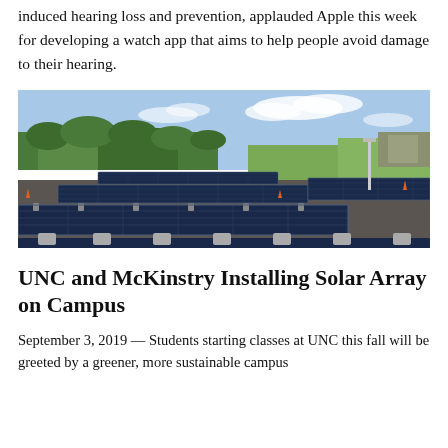induced hearing loss and prevention, applauded Apple this week for developing a watch app that aims to help people avoid damage to their hearing.
[Figure (photo): Aerial view of solar panels installed in rows on a flat surface, with trees and a sports field in the background under a partly cloudy sky.]
UNC and McKinstry Installing Solar Array on Campus
September 3, 2019 — Students starting classes at UNC this fall will be greeted by a greener, more sustainable campus